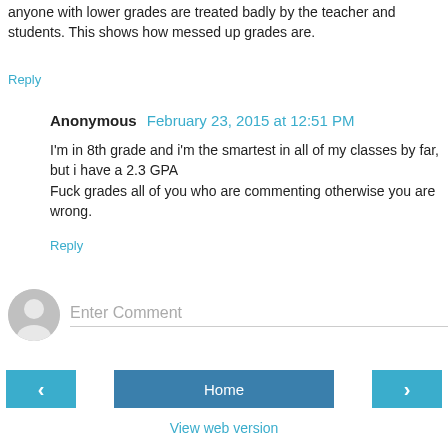anyone with lower grades are treated badly by the teacher and students. This shows how messed up grades are.
Reply
Anonymous February 23, 2015 at 12:51 PM
I'm in 8th grade and i'm the smartest in all of my classes by far, but i have a 2.3 GPA
Fuck grades all of you who are commenting otherwise you are wrong.
Reply
[Figure (other): Enter Comment input box with user avatar icon]
Home
View web version